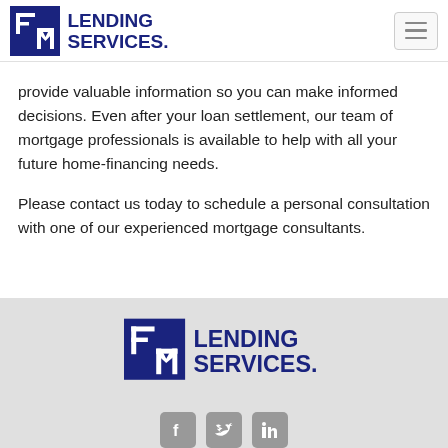FM Lending Services logo and navigation
provide valuable information so you can make informed decisions. Even after your loan settlement, our team of mortgage professionals is available to help with all your future home-financing needs.
Please contact us today to schedule a personal consultation with one of our experienced mortgage consultants.
FM Lending Services logo and social media icons footer